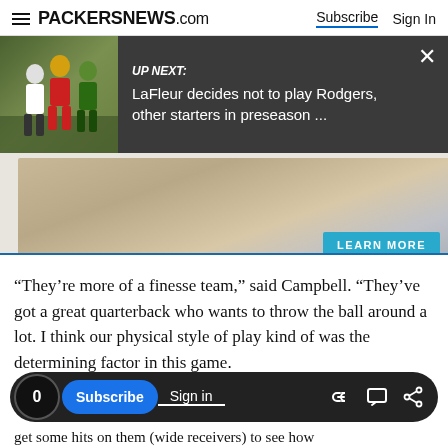PACKERSNEWS.com | Subscribe | Sign In
[Figure (screenshot): Up Next banner with photo of football players at practice, dark background, showing headline: LaFleur decides not to play Rodgers, other starters in preseason ...]
[Figure (photo): Advertisement banner showing laptop on desk with LEARN MORE button]
“They’re more of a finesse team,” said Campbell. “They’ve got a great quarterback who wants to throw the ball around a lot. I think our physical style of play kind of was the determining factor in this game.
0 | Subscribe | Sign in | [link icon] [comment icon] [share icon]